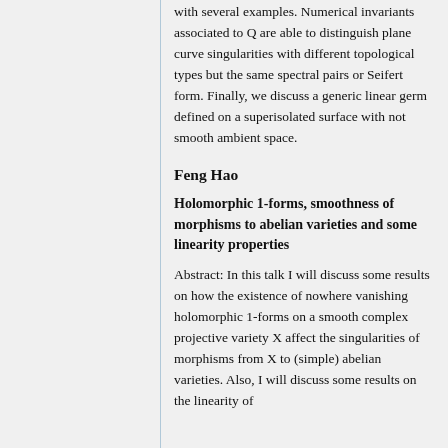with several examples. Numerical invariants associated to Q are able to distinguish plane curve singularities with different topological types but the same spectral pairs or Seifert form. Finally, we discuss a generic linear germ defined on a superisolated surface with not smooth ambient space.
Feng Hao
Holomorphic 1-forms, smoothness of morphisms to abelian varieties and some linearity properties
Abstract: In this talk I will discuss some results on how the existence of nowhere vanishing holomorphic 1-forms on a smooth complex projective variety X affect the singularities of morphisms from X to (simple) abelian varieties. Also, I will discuss some results on the linearity of